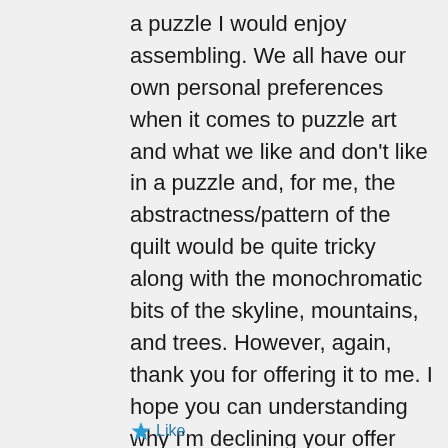a puzzle I would enjoy assembling. We all have our own personal preferences when it comes to puzzle art and what we like and don't like in a puzzle and, for me, the abstractness/pattern of the quilt would be quite tricky along with the monochromatic bits of the skyline, mountains, and trees. However, again, thank you for offering it to me. I hope you can understanding why I'm declining your offer and there aren't any hard feelings. I'm glad to hear that you are loving the puzzle.